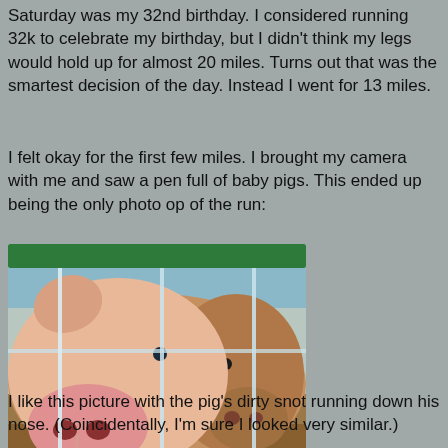Saturday was my 32nd birthday. I considered running 32k to celebrate my birthday, but I didn't think my legs would hold up for almost 20 miles. Turns out that was the smartest decision of the day. Instead I went for 13 miles.
I felt okay for the first few miles. I brought my camera with me and saw a pen full of baby pigs. This ended up being the only photo op of the run:
[Figure (photo): Close-up photo of baby pigs peering through metal fence bars, with a green bar at the top. One pink pig faces forward showing its snout and nostril, another brownish pig is visible behind it. Dirt and straw in the background.]
I like this picture with the pig's dirty snot running down his nose. (Coincidentally, I'm sure I looked very similar.)